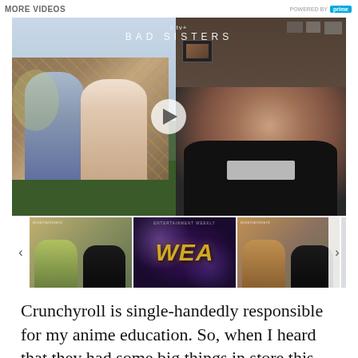MORE VIDEOS
[Figure (screenshot): Video player showing 'BAD SISTERS' on Apple TV+. Left side shows two people (a man and a woman) sitting in front of a stained glass background; right side shows a smiling woman in a dark shirt in front of shelves. A play button is overlaid in the center.]
[Figure (screenshot): Thumbnail strip with four video thumbnails: (1) interview-style clip, (2) WHA stylized logo on dark purple background, (3) interview-style clip, (4) Sustainable Stream logo on dark background. Left and right navigation arrows flank the strip.]
Crunchyroll is single-handedly responsible for my anime education. So, when I heard that they had some big things in store this summer, I got really